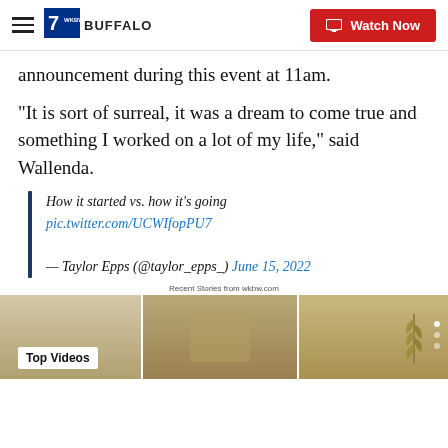7 WKBW BUFFALO | Watch Now
announcement during this event at 11am.
"It is sort of surreal, it was a dream to come true and something I worked on a lot of my life," said Wallenda.
How it started vs. how it’s going pic.twitter.com/UCWIfopPU7
— Taylor Epps (@taylor_epps_) June 15, 2022
Recent Stories from wkbw.com
[Figure (screenshot): Top Videos thumbnail strip showing video content]